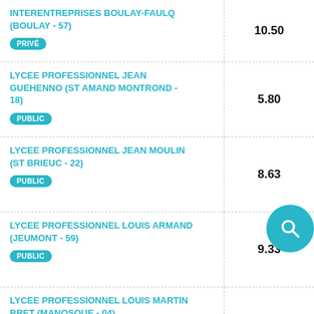INTERENTREPRISES BOULAY-FAULQ (BOULAY - 57) PRIVÉ — 10.50
LYCEE PROFESSIONNEL JEAN GUEHENNO (ST AMAND MONTROND - 18) PUBLIC — 5.80
LYCEE PROFESSIONNEL JEAN MOULIN (ST BRIEUC - 22) PUBLIC — 8.63
LYCEE PROFESSIONNEL LOUIS ARMAND (JEUMONT - 59) PUBLIC — 9.33
LYCEE PROFESSIONNEL LOUIS MARTIN BRET (MANOSQUE - 04)